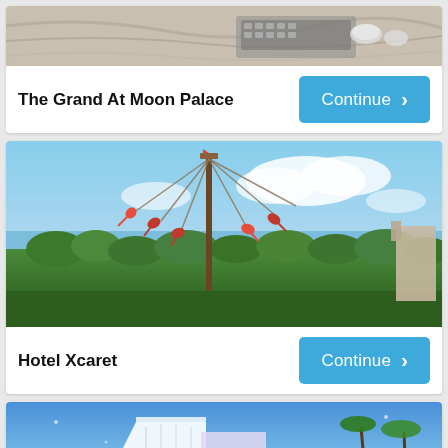[Figure (photo): Top portion of hotel room/dining area with marble textures, keyboard and coffee cups visible — The Grand At Moon Palace]
The Grand At Moon Palace
[Figure (photo): Voladores de Papantla pole flyers performing traditional ritual dance on a tall pole against a blue sky with green jungle and ocean in the background — Hotel Xcaret]
Hotel Xcaret
[Figure (photo): Modern luxury hotel building with white angular architecture, palm trees, and blue sky with decorative overlay — third hotel listing]